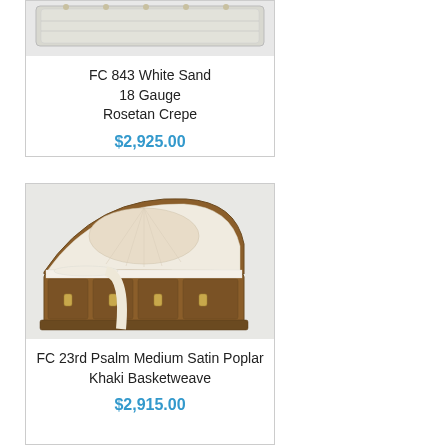[Figure (photo): Photo of FC 843 White Sand casket, 18 gauge steel, partially visible at top of card]
FC 843 White Sand
18 Gauge
Rosetan Crepe
$2,925.00
[Figure (photo): Photo of FC 23rd Psalm Medium Satin Poplar casket, wooden with cream interior, open lid]
FC 23rd Psalm Medium Satin Poplar
Khaki Basketweave
$2,915.00